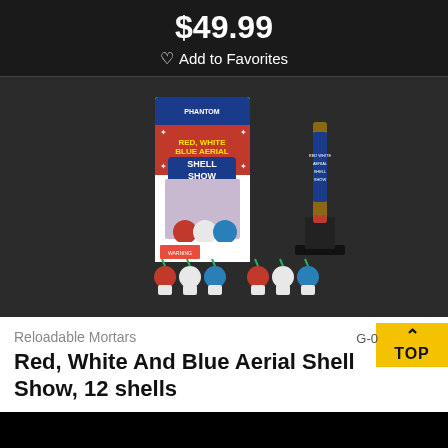$49.99
♡ Add to Favorites
[Figure (photo): Product photo of Red, White And Blue Aerial Shell Show fireworks kit showing box packaging, a mortar tube on a stand, and 12 individual colored shells (red, white, blue) arranged in front on a dark background.]
Reloadable Mortars
G-0
Red, White And Blue Aerial Shell Show, 12 shells
TOP